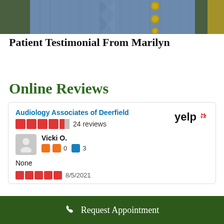[Figure (photo): Cropped photo of a person wearing a denim jacket with gold buttons, partial torso view]
Patient Testimonial From Marilyn
Online Reviews
[Figure (screenshot): Yelp widget showing Audiology Associates of Deerfield with 5 stars and 24 reviews, reviewer Vicki O. with 0 compliments and 3 reviews, comment: None, dated 8/5/2021]
Request Appointment